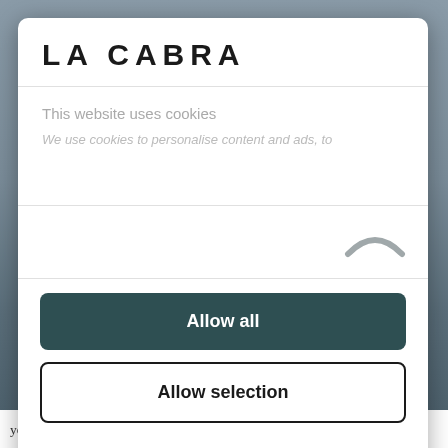LA CABRA
This website uses cookies
We use cookies to personalise content and ads, to
[Figure (other): Cookie consent toggle/chevron arc icon in grey]
Allow all
Allow selection
Deny
Powered by Cookiebot by Usercentrics
years. While the term is widely used, and the basic premise of the